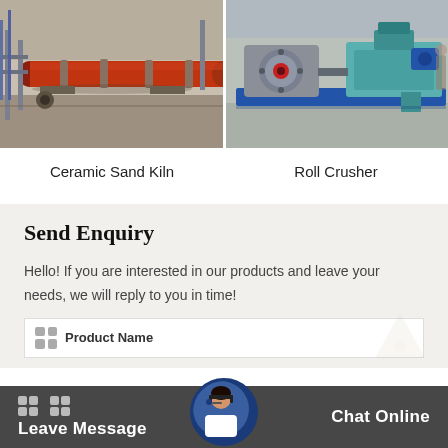[Figure (photo): Industrial ceramic sand kiln — large red horizontal rotating cylinder pipe with metal framework and scaffolding in a factory setting.]
[Figure (photo): Roll crusher machine — grey and teal industrial roll crusher unit mounted on a blue steel frame in a factory warehouse.]
Ceramic Sand Kiln
Roll Crusher
Send Enquiry
Hello! If you are interested in our products and leave your needs, we will reply to you in time!
Product Name
Leave Message   Chat Online